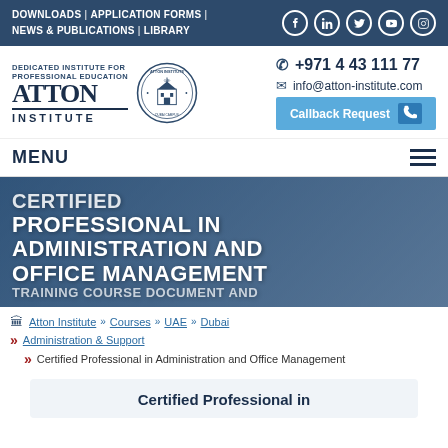DOWNLOADS | APPLICATION FORMS | NEWS & PUBLICATIONS | LIBRARY
[Figure (logo): Atton Institute logo with seal and tagline 'Dedicated Institute for Professional Education']
+971 4 43 111 77 | info@atton-institute.com | Callback Request
MENU
CERTIFIED PROFESSIONAL IN ADMINISTRATION AND OFFICE MANAGEMENT
Atton Institute » Courses » UAE » Dubai » Administration & Support » Certified Professional in Administration and Office Management
Certified Professional in